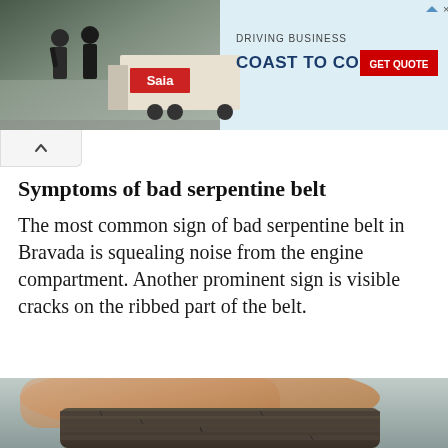[Figure (photo): Advertisement banner for SIA freight trucking company. Shows two people near a loading dock with a truck trailer on the left, and text 'DRIVING BUSINESS COAST TO COAST' with a red 'GET QUOTE' button on the right.]
Symptoms of bad serpentine belt
The most common sign of bad serpentine belt in Bravada is squealing noise from the engine compartment. Another prominent sign is visible cracks on the ribbed part of the belt.
[Figure (photo): Close-up photo of a hand holding a worn, cracked serpentine belt with visible ribbed surface showing cracks and wear.]